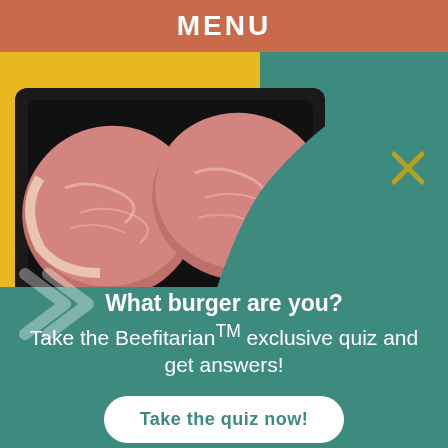MENU
[Figure (photo): A tray of marbled beef steaks on a yellow background with teal curved overlay]
What burger are you?
Take the Beefitarian™ exclusive quiz and get answers!
Take the quiz now!